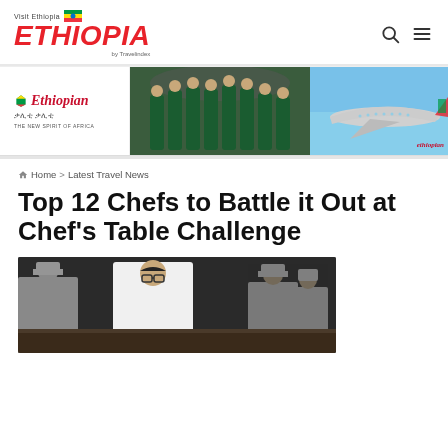Visit Ethiopia ETHIOPIA by Travelindex
[Figure (photo): Ethiopian Airlines banner advertisement showing airline staff in green uniforms and an aircraft on blue sky background, with Ethiopian Airlines logo and tagline 'The New Spirit of Africa']
Home > Latest Travel News
Top 12 Chefs to Battle it Out at Chef's Table Challenge
[Figure (photo): Photo of chefs in white uniforms and toques working at a cooking competition]